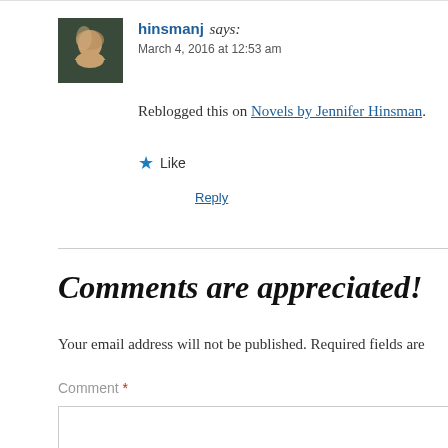[Figure (photo): Avatar photo of hinsmanj, a woman with blonde hair against a dark background]
hinsmanj says:
March 4, 2016 at 12:53 am
Reblogged this on Novels by Jennifer Hinsman.
★ Like
Reply
Comments are appreciated!
Your email address will not be published. Required fields are
Comment *